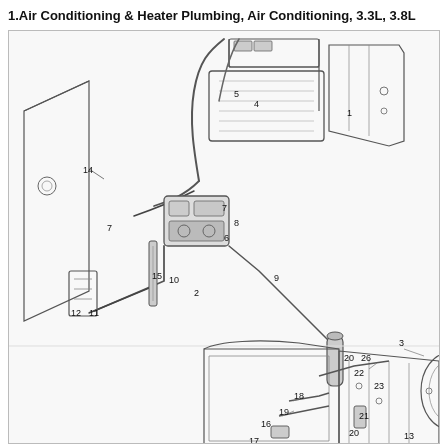1.Air Conditioning & Heater Plumbing, Air Conditioning, 3.3L, 3.8L
[Figure (engineering-diagram): Technical exploded/assembly diagram of Air Conditioning & Heater Plumbing system for 3.3L and 3.8L engines. The diagram shows two sub-assemblies with numbered callouts. Upper assembly shows refrigerant lines, compressor, condenser, and related components labeled 1-15. Lower assembly shows heater core area components labeled 3, 13, 16, 18-23, 26. Part numbers visible: 1, 2, 3, 4, 5, 6, 7, 8, 9, 10, 11, 12, 13, 14, 15, 16, 17, 18, 19, 20, 21, 22, 23, 26.]